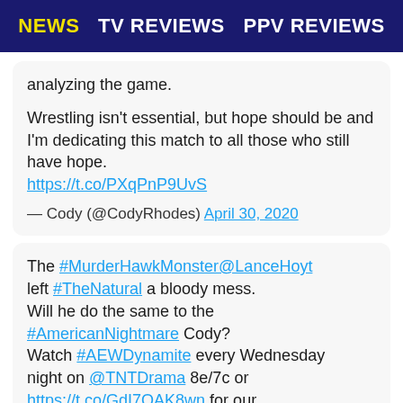NEWS | TV REVIEWS | PPV REVIEWS
analyzing the game.

Wrestling isn't essential, but hope should be and I'm dedicating this match to all those who still have hope. https://t.co/PXqPnP9UvS

— Cody (@CodyRhodes) April 30, 2020
The #MurderHawkMonster@LanceHoyt left #TheNatural a bloody mess. Will he do the same to the #AmericanNightmare Cody? Watch #AEWDynamite every Wednesday night on @TNTDrama 8e/7c or https://t.co/GdI7QAK8wn for our